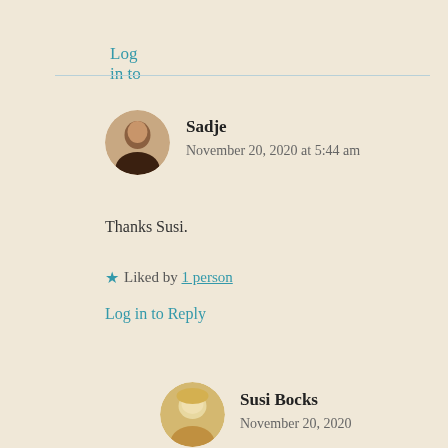Log in to Reply
Sadje
November 20, 2020 at 5:44 am
Thanks Susi.
★ Liked by 1 person
Log in to Reply
Susi Bocks
November 20, 2020